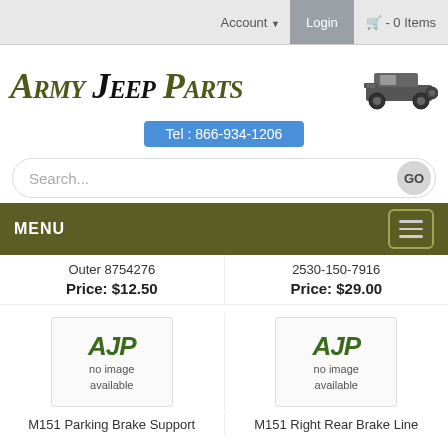Account  Login  Cart - 0 Items
Army Jeep Parts
Tel : 866-934-1206
Search...  GO
MENU
Outer 8754276
Price: $12.50
2530-150-7916
Price: $29.00
[Figure (logo): AJP no image available placeholder - left]
[Figure (logo): AJP no image available placeholder - right]
M151 Parking Brake Support
M151 Right Rear Brake Line